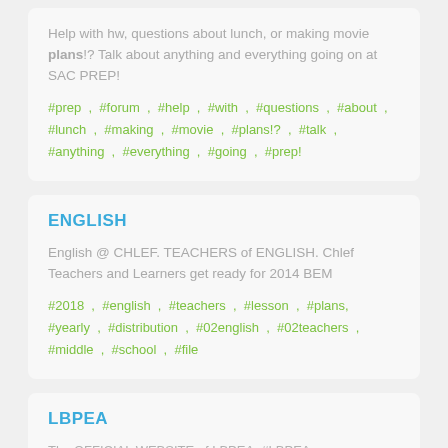Help with hw, questions about lunch, or making movie plans!? Talk about anything and everything going on at SAC PREP!
#prep , #forum , #help , #with , #questions , #about , #lunch , #making , #movie , #plans!? , #talk , #anything , #everything , #going , #prep!
ENGLISH
English @ CHLEF. TEACHERS of ENGLISH. Chlef Teachers and Learners get ready for 2014 BEM
#2018 , #english , #teachers , #lesson , #plans, #yearly , #distribution , #02english , #02teachers , #middle , #school , #file
LBPEA